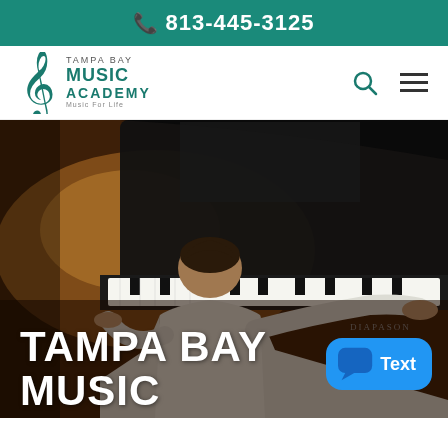813-445-3125
[Figure (logo): Tampa Bay Music Academy logo with treble clef icon and text 'Tampa Bay Music Academy – Music For Life']
[Figure (photo): Young pianist seen from behind playing a grand piano (Diapason brand) on a wooden stage, wearing a white shirt, dramatic lighting]
TAMPA BAY MUSIC